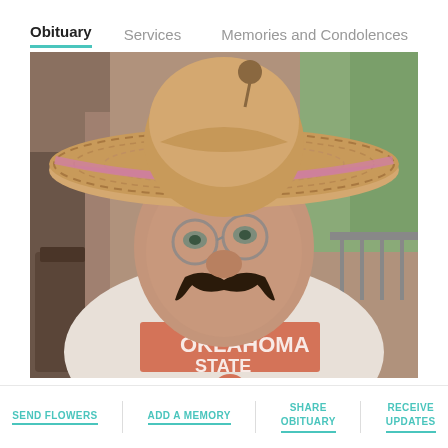Obituary   Services   Memories and Condolences
[Figure (photo): An elderly man wearing a large sombrero hat and a fake curly mustache, dressed in a white Oklahoma State t-shirt with beaded necklaces, photographed indoors with greenery visible in the background.]
SEND FLOWERS
ADD A MEMORY
SHARE OBITUARY
RECEIVE UPDATES